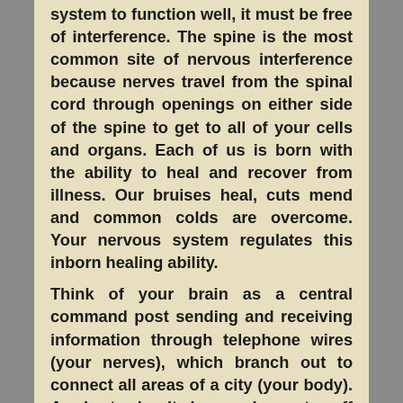system to function well, it must be free of interference. The spine is the most common site of nervous interference because nerves travel from the spinal cord through openings on either side of the spine to get to all of your cells and organs. Each of us is born with the ability to heal and recover from illness. Our bruises heal, cuts mend and common colds are overcome. Your nervous system regulates this inborn healing ability.
Think of your brain as a central command post sending and receiving information through telephone wires (your nerves), which branch out to connect all areas of a city (your body). A short circuit in a wire cuts off communication just like